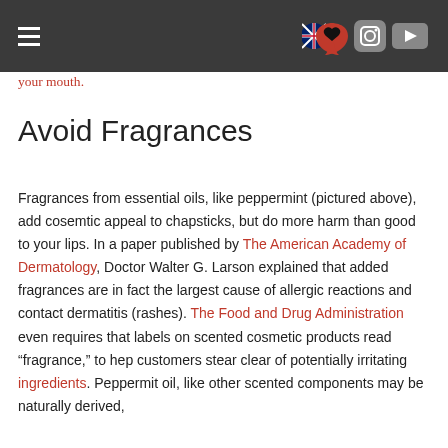Navigation header with hamburger menu and icons (UK/Albania heart, Instagram, YouTube)
your mouth.
Avoid Fragrances
Fragrances from essential oils, like peppermint (pictured above), add cosemtic appeal to chapsticks, but do more harm than good to your lips. In a paper published by The American Academy of Dermatology, Doctor Walter G. Larson explained that added fragrances are in fact the largest cause of allergic reactions and contact dermatitis (rashes). The Food and Drug Administration even requires that labels on scented cosmetic products read “fragrance,” to hep customers stear clear of potentially irritating ingredients. Peppermit oil, like other scented components may be naturally derived,